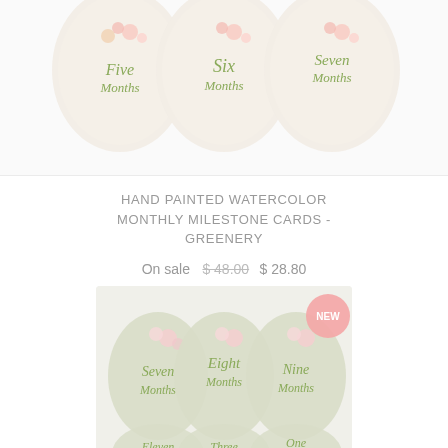[Figure (photo): Three oval milestone cards showing Five Months, Six Months, Seven Months with white floral watercolor background]
HAND PAINTED WATERCOLOR MONTHLY MILESTONE CARDS - GREENERY
On sale  $48.00  $ 28.80
[Figure (photo): Grid of oval milestone cards with sage green background showing Seven Months, Eight Months, Nine Months (with NEW badge), Eleven Months, Three, One Day]